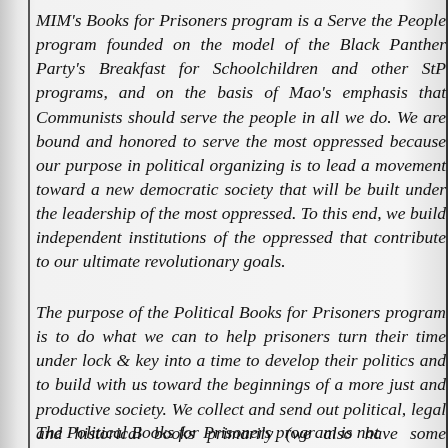MIM's Books for Prisoners program is a Serve the People program founded on the model of the Black Panther Party's Breakfast for Schoolchildren and other StP programs, and on the basis of Mao's emphasis that Communists should serve the people in all we do. We are bound and honored to serve the most oppressed because our purpose in political organizing is to lead a movement toward a new democratic society that will be built under the leadership of the most oppressed. To this end, we build independent institutions of the oppressed that contribute to our ultimate revolutionary goals.
The purpose of the Political Books for Prisoners program is to do what we can to help prisoners turn their time under lock & key into a time to develop their politics and to build with us toward the beginnings of a more just and productive society. We collect and send out political, legal and historical books primarily (we also have some dictionaries and other reference that are useful for writers), to give prisoners tools to study the conditions under which they are living and to turn their knowledge into political organizing.
The Political Books for Prisoners program is not